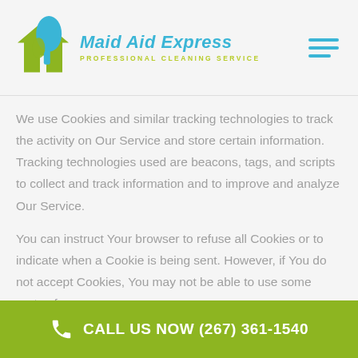[Figure (logo): Maid Aid Express logo with house and cleaning brush icon, blue and green colors, text 'Maid Aid Express' and 'PROFESSIONAL CLEANING SERVICE']
We use Cookies and similar tracking technologies to track the activity on Our Service and store certain information. Tracking technologies used are beacons, tags, and scripts to collect and track information and to improve and analyze Our Service.
You can instruct Your browser to refuse all Cookies or to indicate when a Cookie is being sent. However, if You do not accept Cookies, You may not be able to use some parts of our
CALL US NOW (267) 361-1540